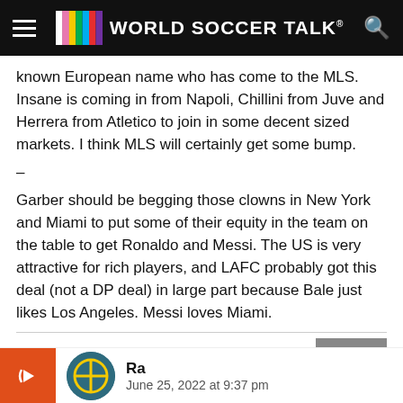World Soccer Talk
known European name who has come to the MLS. Insane is coming in from Napoli, Chillini from Juve and Herrera from Atletico to join in some decent sized markets. I think MLS will certainly get some bump.
–
Garber should be begging those clowns in New York and Miami to put some of their equity in the team on the table to get Ronaldo and Messi. The US is very attractive for rich players, and LAFC probably got this deal (not a DP deal) in large part because Bale just likes Los Angeles. Messi loves Miami.
Ra
June 25, 2022 at 9:37 pm